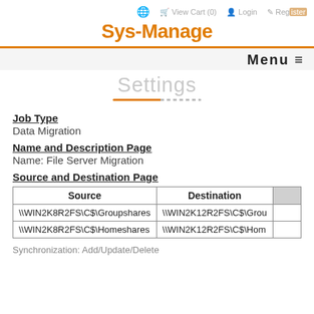Sys-Manage
Settings
Job Type
Data Migration
Name and Description Page
Name: File Server Migration
Source and Destination Page
| Source | Destination |  |
| --- | --- | --- |
| \\WIN2K8R2FS\C$\Groupshares | \\WIN2K12R2FS\C$\Grou |  |
| \\WIN2K8R2FS\C$\Homeshares | \\WIN2K12R2FS\C$\Hom |  |
Synchronization: Add/Update/Delete